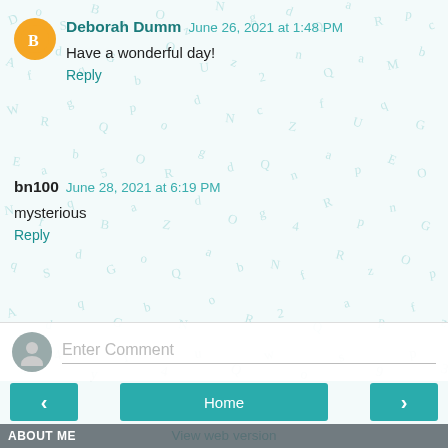[Figure (illustration): Decorative background of scattered teal/grey letters and characters on a light background]
Deborah Dumm June 26, 2021 at 1:48 PM
Have a wonderful day!
Reply
bn100 June 28, 2021 at 6:19 PM
mysterious
Reply
Enter Comment
Home
View web version
ABOUT ME